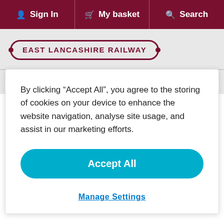Sign In | My basket | Search
[Figure (logo): East Lancashire Railway logo badge with maroon oval border and text]
November  November  November  November
By clicking “Accept All”, you agree to the storing of cookies on your device to enhance the website navigation, analyse site usage, and assist in our marketing efforts.
Accept All
Manage Settings